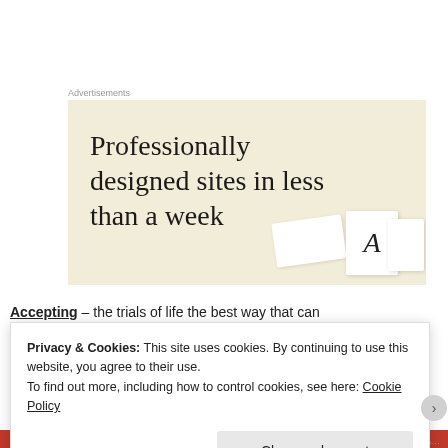Advertisements
[Figure (illustration): Advertisement banner with beige background showing text 'Professionally designed sites in less than a week' with white card mockups in the bottom right corner including a large letter A]
Accepting – the trials of life the best way that can
using each day as a new learning experience.
Privacy & Cookies: This site uses cookies. By continuing to use this website, you agree to their use. To find out more, including how to control cookies, see here: Cookie Policy
Close and accept